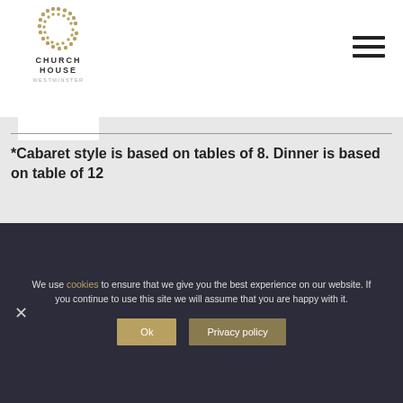[Figure (logo): Church House Westminster logo — decorative C emblem above text CHURCH HOUSE WESTMINSTER in a white shield/pentagon shape]
*Cabaret style is based on tables of 8. Dinner is based on table of 12
We use cookies to ensure that we give you the best experience on our website. If you continue to use this site we will assume that you are happy with it.
Ok
Privacy policy